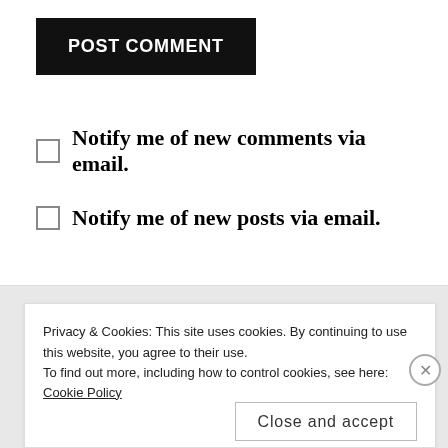POST COMMENT
Notify me of new comments via email.
Notify me of new posts via email.
Privacy & Cookies: This site uses cookies. By continuing to use this website, you agree to their use.
To find out more, including how to control cookies, see here: Cookie Policy
Close and accept